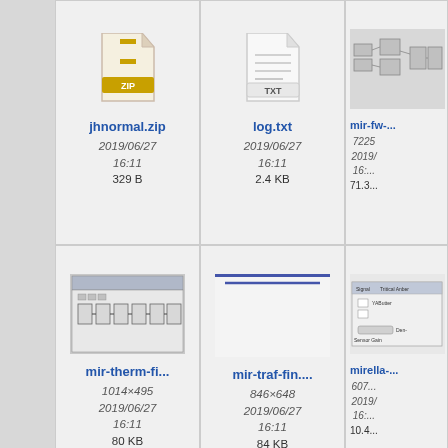[Figure (screenshot): File browser grid showing file thumbnails and metadata. Row 1: jhnormal.zip (2019/06/27 16:11, 329 B), log.txt (2019/06/27 16:11, 2.4 KB), mir-fw-... (partial, 7225..., 2019/..., 16:..., 71.3...). Row 2: mir-therm-fi... screenshot thumbnail (1014x495, 2019/06/27 16:11, 80 KB), mir-traf-fin.... (846x648, 2019/06/27 16:11, 84 KB), mirella-... (partial, 607..., 2019/..., 16:..., 10.4...). Row 3: partial thumbnails at bottom.]